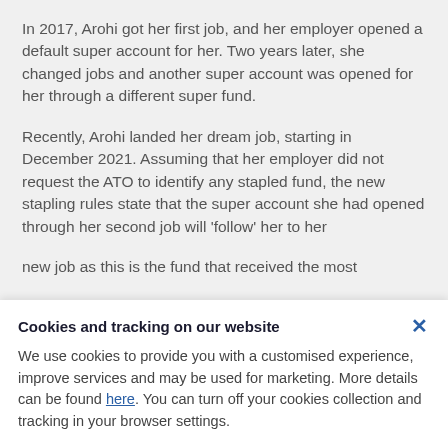In 2017, Arohi got her first job, and her employer opened a default super account for her. Two years later, she changed jobs and another super account was opened for her through a different super fund.
Recently, Arohi landed her dream job, starting in December 2021. Assuming that her employer did not request the ATO to identify any stapled fund, the new stapling rules state that the super account she had opened through her second job will 'follow' her to her new job as this is the fund that received the most...
Cookies and tracking on our website
We use cookies to provide you with a customised experience, improve services and may be used for marketing. More details can be found here. You can turn off your cookies collection and tracking in your browser settings.